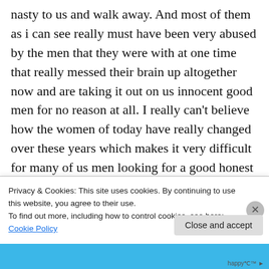nasty to us and walk away. And most of them as i can see really must have been very abused by the men that they were with at one time that really messed their brain up altogether now and are taking it out on us innocent good men for no reason at all. I really can't believe how the women of today have really changed over these years which makes it very difficult for many of us men looking for a good honest relationship now which certainly explains why many of us men are still single today since we really have no reason
Privacy & Cookies: This site uses cookies. By continuing to use this website, you agree to their use.
To find out more, including how to control cookies, see here: Cookie Policy
Close and accept